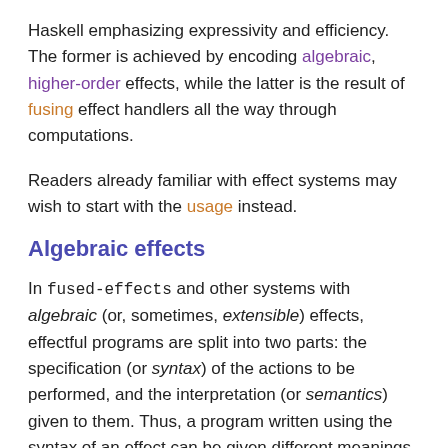Haskell emphasizing expressivity and efficiency. The former is achieved by encoding algebraic, higher-order effects, while the latter is the result of fusing effect handlers all the way through computations.
Readers already familiar with effect systems may wish to start with the usage instead.
Algebraic effects
In fused-effects and other systems with algebraic (or, sometimes, extensible) effects, effectful programs are split into two parts: the specification (or syntax) of the actions to be performed, and the interpretation (or semantics) given to them. Thus, a program written using the syntax of an effect can be given different meanings by using different effect handlers.